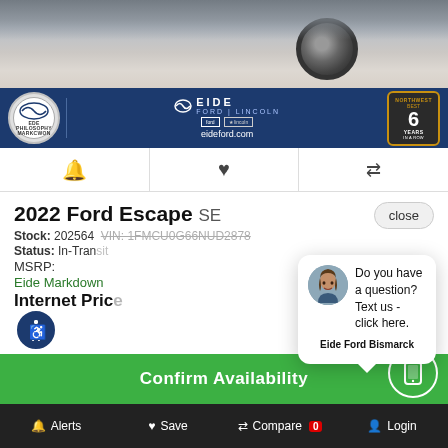[Figure (photo): Car dealership photo showing a gray Ford Escape SUV from rear angle in a showroom, with Eide Ford Lincoln dealer banner overlay at bottom showing logo, eideford.com URL, and '6 Years in a Row' award badge]
🔔  ♥  ⇄
2022 Ford Escape SE
Stock: 202564  VIN: 1FMCU0G66NUD2878
Status: In-Transit
MSRP:
Eide Markdown
Internet Price
close
[Figure (photo): Chat popup overlay with female avatar photo, showing message: Do you have a question? Text us - click here. Signed Eide Ford Bismarck]
Confirm Availability
🔔 Alerts  ♥ Save  ⇄ Compare O  👤 Login